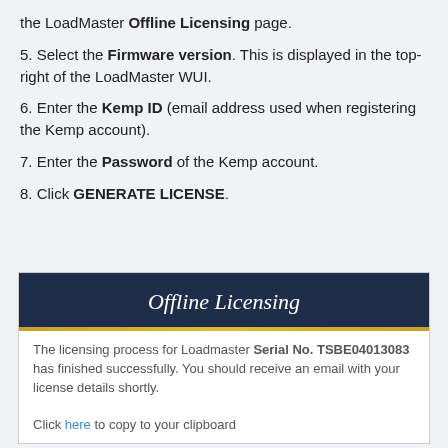the LoadMaster Offline Licensing page.
5. Select the Firmware version. This is displayed in the top-right of the LoadMaster WUI.
6. Enter the Kemp ID (email address used when registering the Kemp account).
7. Enter the Password of the Kemp account.
8. Click GENERATE LICENSE.
[Figure (screenshot): Offline Licensing dialog showing a dark navy header with 'Offline Licensing' title, a gold/yellow separator bar, and a white body section with text: 'The licensing process for Loadmaster Serial No. TSBE04013083 has finished successfully. You should receive an email with your license details shortly.' followed by 'Click here to copy to your clipboard']